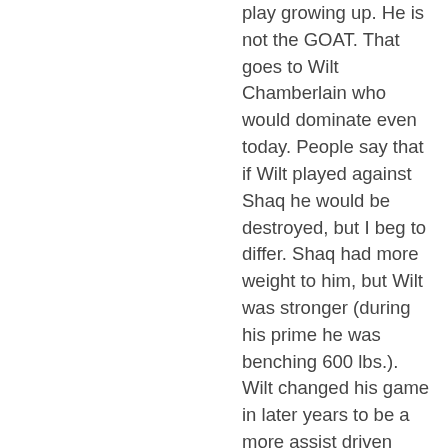play growing up. He is not the GOAT. That goes to Wilt Chamberlain who would dominate even today. People say that if Wilt played against Shaq he would be destroyed, but I beg to differ. Shaq had more weight to him, but Wilt was stronger (during his prime he was benching 600 lbs.). Wilt changed his game in later years to be a more assist driven center instead of focusing more on scoring inside. If he